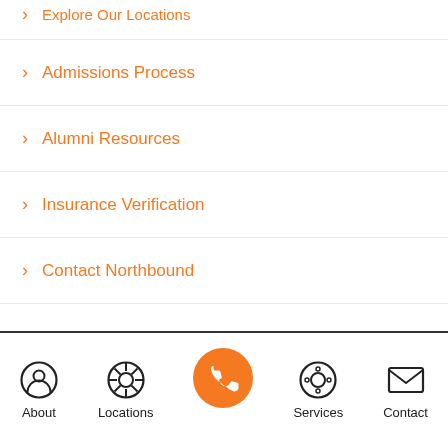> Explore Our Locations
> Admissions Process
> Alumni Resources
> Insurance Verification
> Contact Northbound
About  Locations  [Call]  Services  Contact